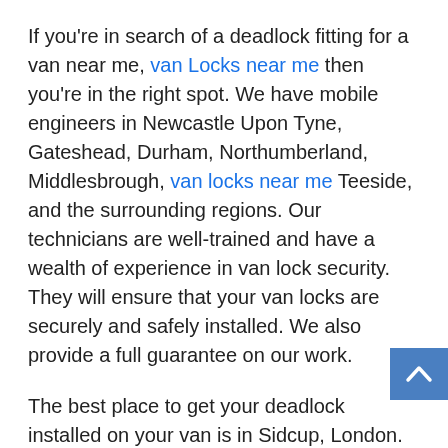If you're in search of a deadlock fitting for a van near me, van Locks near me then you're in the right spot. We have mobile engineers in Newcastle Upon Tyne, Gateshead, Durham, Northumberland, Middlesbrough, van locks near me Teeside, and the surrounding regions. Our technicians are well-trained and have a wealth of experience in van lock security. They will ensure that your van locks are securely and safely installed. We also provide a full guarantee on our work.
The best place to get your deadlock installed on your van is in Sidcup, London. The locksmith business is endorsed by the MLA and can install locks with high security. We also provide high-quality auto locking services to ensure your vehicle remains secure and safe. We have the right lock for you, no matter the type you select. Our team of experts is ready to assist you to secure your vehicle. You can even get your deadlocks installed at a cost that will fit